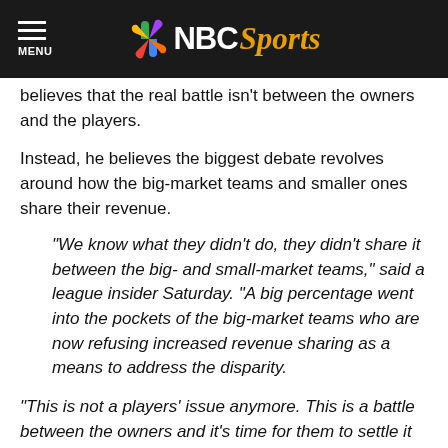NBC Sports (header/logo)
believes that the real battle isn't between the owners and the players.
Instead, he believes the biggest debate revolves around how the big-market teams and smaller ones share their revenue.
“We know what they didn’t do, they didn’t share it between the big- and small-market teams,” said a league insider Saturday. “A big percentage went into the pockets of the big-market teams who are now refusing increased revenue sharing as a means to address the disparity.
“This is not a players’ issue anymore. This is a battle between the owners and it’s time for them to settle it once and for all between themselves.”
That insider then turns to the argument that the owners